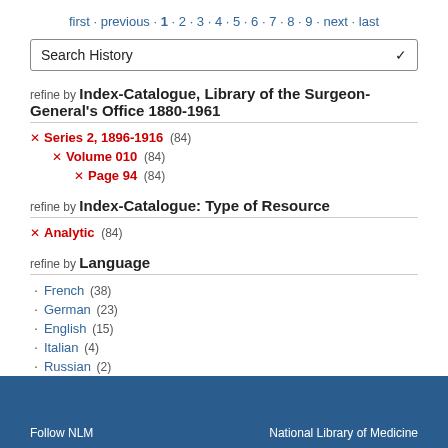first · previous · 1 · 2 · 3 · 4 · 5 · 6 · 7 · 8 · 9 · next · last
Search History
refine by Index-Catalogue, Library of the Surgeon-General's Office 1880-1961
× Series 2, 1896-1916 (84)
× Volume 010 (84)
× Page 94 (84)
refine by Index-Catalogue: Type of Resource
× Analytic (84)
refine by Language
· French (38)
· German (23)
· English (15)
· Italian (4)
· Russian (2)
· Portuguese (1)
· Spanish (1)
Follow NLM    National Library of Medicine